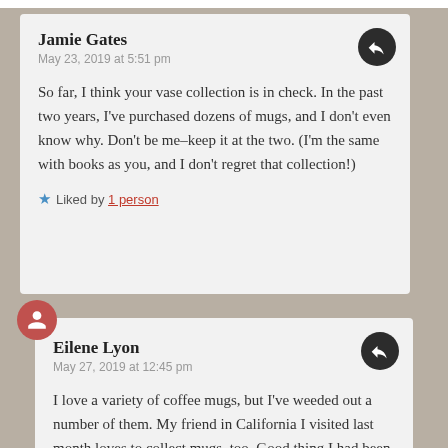Jamie Gates
May 23, 2019 at 5:51 pm
So far, I think your vase collection is in check. In the past two years, I’ve purchased dozens of mugs, and I don’t even know why. Don’t be me–keep it at the two. (I’m the same with books as you, and I don’t regret that collection!)
★ Liked by 1 person
Eilene Lyon
May 27, 2019 at 12:45 pm
I love a variety of coffee mugs, but I’ve weeded out a number of them. My friend in California I visited last month loves to collect mugs, too. Good thing I had been at the same part...